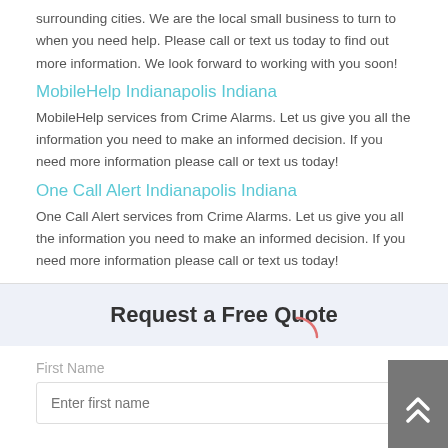surrounding cities. We are the local small business to turn to when you need help. Please call or text us today to find out more information. We look forward to working with you soon!
MobileHelp Indianapolis Indiana
MobileHelp services from Crime Alarms. Let us give you all the information you need to make an informed decision. If you need more information please call or text us today!
One Call Alert Indianapolis Indiana
One Call Alert services from Crime Alarms. Let us give you all the information you need to make an informed decision. If you need more information please call or text us today!
Request a Free Quote
First Name
Enter first name